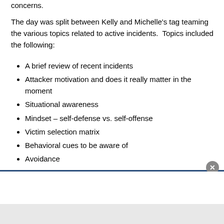concerns.
The day was split between Kelly and Michelle's tag teaming the various topics related to active incidents.  Topics included the following:
A brief review of recent incidents
Attacker motivation and does it really matter in the moment
Situational awareness
Mindset – self-defense vs. self-offense
Victim selection matrix
Behavioral cues to be aware of
Avoidance
Violent attacks